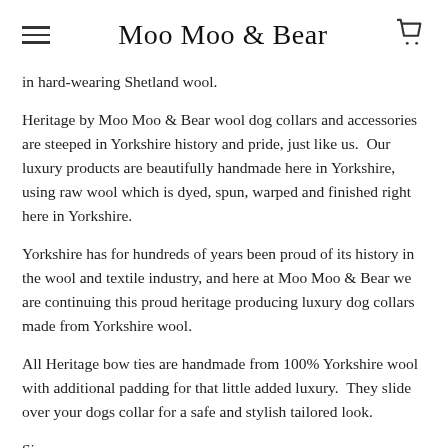Moo Moo & Bear
in hard-wearing Shetland wool.
Heritage by Moo Moo & Bear wool dog collars and accessories are steeped in Yorkshire history and pride, just like us. Our luxury products are beautifully handmade here in Yorkshire, using raw wool which is dyed, spun, warped and finished right here in Yorkshire.
Yorkshire has for hundreds of years been proud of its history in the wool and textile industry, and here at Moo Moo & Bear we are continuing this proud heritage producing luxury dog collars made from Yorkshire wool.
All Heritage bow ties are handmade from 100% Yorkshire wool with additional padding for that little added luxury. They slide over your dogs collar for a safe and stylish tailored look.
Sizes: